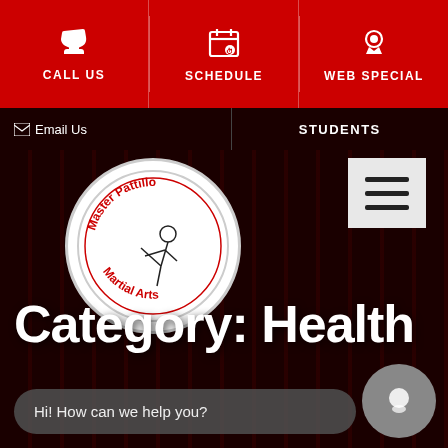CALL US | SCHEDULE | WEB SPECIAL
Email Us | STUDENTS
[Figure (logo): Master Pattillo Martial Arts circular logo with karate figure]
Category: Health
Hi! How can we help you?